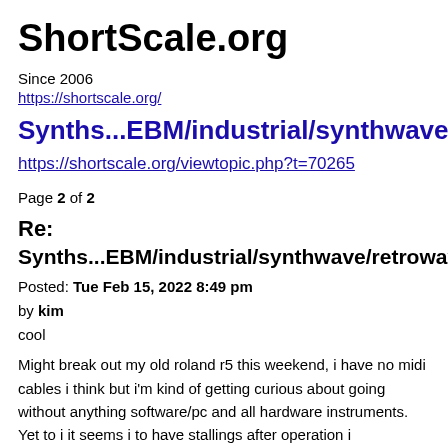ShortScale.org
Since 2006
https://shortscale.org/
Synths...EBM/industrial/synthwave/retrow…
https://shortscale.org/viewtopic.php?t=70265
Page 2 of 2
Re:
Synths...EBM/industrial/synthwave/retrowave/coldwav…
Posted: Tue Feb 15, 2022 8:49 pm
by kim
cool
Might break out my old roland r5 this weekend, i have no midi cables i think but i'm kind of getting curious about going without anything software/pc and all hardware instruments.
Yet to i it seems i to have stallings after operation i